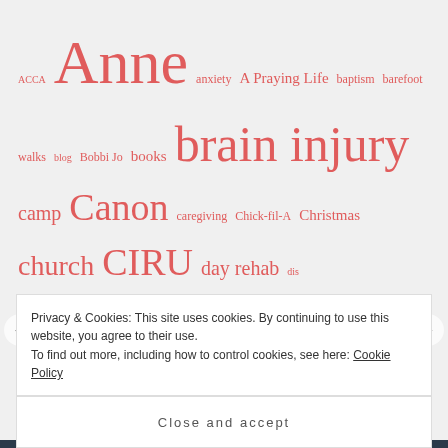[Figure (infographic): Tag cloud of blog topics in various sizes, all in salmon/coral red color on light gray background. Tags include: ACCA, Anne, anxiety, A Praying Life, baptism, barefoot walks, blog, Bobbi Jo, books, brain injury, camp, Canon, caregiving, Chick-fil-A, Christmas, church, CIRU, day rehab, dis, disability, Eric, eternal, FOCUS, Genesis, gospels, grace, Grief, Guthrie, heroes, hippotherapy, hope, house, Hubach, Irby, Jesus, Jesus Calling, Kate, Kingdom, marriage, Matthew, Music, organization, OT, perseverance, PICU, prayer, Prayer requests, Progress report, PT, questioning, rabbit & squirrel, Random]
Privacy & Cookies: This site uses cookies. By continuing to use this website, you agree to their use. To find out more, including how to control cookies, see here: Cookie Policy
Close and accept